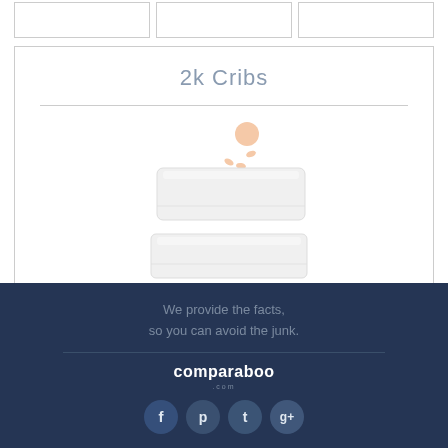[Figure (other): Three placeholder card boxes in a row at the top of the page]
2k Cribs
[Figure (photo): Baby sitting on top of a white crib mattress, with a second white crib mattress below it]
We provide the facts,
so you can avoid the junk.
comparaboo
[Figure (other): Social media icons: Facebook, Pinterest, Twitter, Google+]